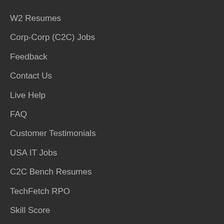W2 Resumes
Corp-Corp (C2C) Jobs
Feedback
Contact Us
Live Help
FAQ
Customer Testimonials
USA IT Jobs
C2C Bench Resumes
TechFetch RPO
Skill Score
Tech Job Fairs